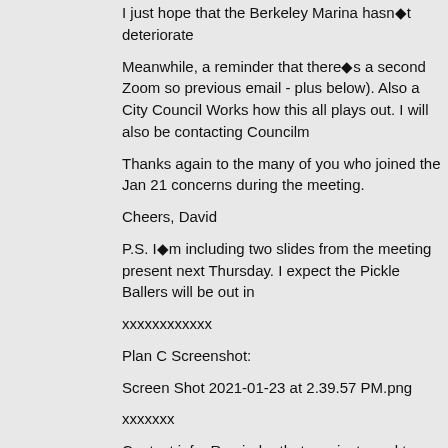I just hope that the Berkeley Marina hasn◆t deteriorate
Meanwhile, a reminder that there◆s a second Zoom so previous email - plus below). Also a City Council Works how this all plays out. I will also be contacting Councilm
Thanks again to the many of you who joined the Jan 21 concerns during the meeting.
Cheers, David
P.S. I◆m including two slides from the meeting present next Thursday. I expect the Pickle Ballers will be out in
xxxxxxxxxxxx
Plan C Screenshot:
Screen Shot 2021-01-23 at 2.39.57 PM.png
xxxxxxx
Contact info: Reminder that you just need to send emai Unfortunately, no sign of ◆workshop results or questio
Screen Shot 2021-01-23 at 2.41.01 PM.png
xxxxxxx
Here◆s the Zoom info for January 28th meeting, next T
Please contact our team with questions or comments at Mailing list: to stay in the loop, please sign up...